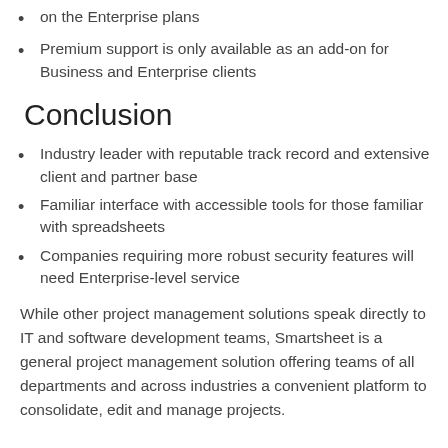on the Enterprise plans
Premium support is only available as an add-on for Business and Enterprise clients
Conclusion
Industry leader with reputable track record and extensive client and partner base
Familiar interface with accessible tools for those familiar with spreadsheets
Companies requiring more robust security features will need Enterprise-level service
While other project management solutions speak directly to IT and software development teams, Smartsheet is a general project management solution offering teams of all departments and across industries a convenient platform to consolidate, edit and manage projects.